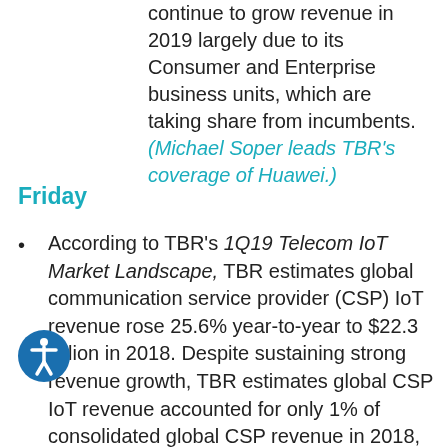continue to grow revenue in 2019 largely due to its Consumer and Enterprise business units, which are taking share from incumbents.(Michael Soper leads TBR's coverage of Huawei.)
Friday
According to TBR's 1Q19 Telecom IoT Market Landscape, TBR estimates global communication service provider (CSP) IoT revenue rose 25.6% year-to-year to $22.3 billion in 2018. Despite sustaining strong revenue growth, TBR estimates global CSP IoT revenue accounted for only 1% of consolidated global CSP revenue in 2018, which is insufficient for most service providers to offset erosion